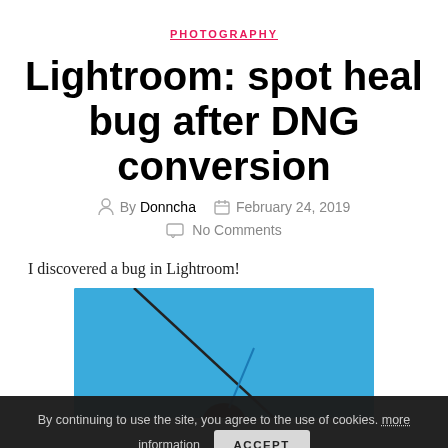PHOTOGRAPHY
Lightroom: spot heal bug after DNG conversion
By Donncha   February 24, 2019   No Comments
I discovered a bug in Lightroom!
[Figure (photo): Photograph of a person outdoors against a blue sky, partially visible at the bottom of the page]
By continuing to use the site, you agree to the use of cookies. more information   ACCEPT